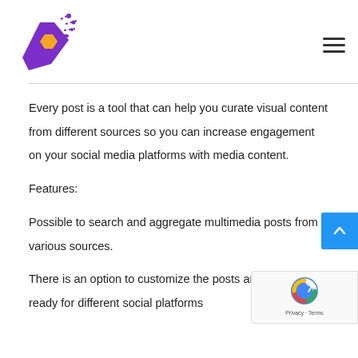[Figure (logo): Purple comet/rocket logo with orange hexagon center and dotted trail lines, purple color]
Every post is a tool that can help you curate visual content from different sources so you can increase engagement on your social media platforms with media content.
Features:
Possible to search and aggregate multimedia posts from various sources.
There is an option to customize the posts and keep them ready for different social platforms